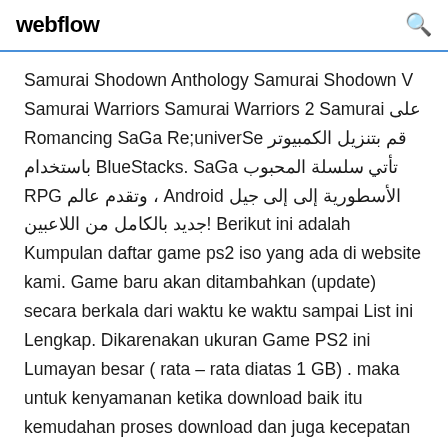webflow
Samurai Shodown Anthology Samurai Shodown V Samurai Warriors Samurai Warriors 2 Samurai على Romancing SaGa Re;univerSe قم بتنزيل الكمبيوتر باستخدام BlueStacks. SaGa تأتي سلسلة المحبوب RPG وتقدم عالم ، Android الأسطورية إلى إلى جيل جديد بالكامل من اللاعبين! Berikut ini adalah Kumpulan daftar game ps2 iso yang ada di website kami. Game baru akan ditambahkan (update) secara berkala dari waktu ke waktu sampai List ini Lengkap. Dikarenakan ukuran Game PS2 ini Lumayan besar ( rata – rata diatas 1 GB) . maka untuk kenyamanan ketika download baik itu kemudahan proses download dan juga kecepatan maksimal. Playstation.